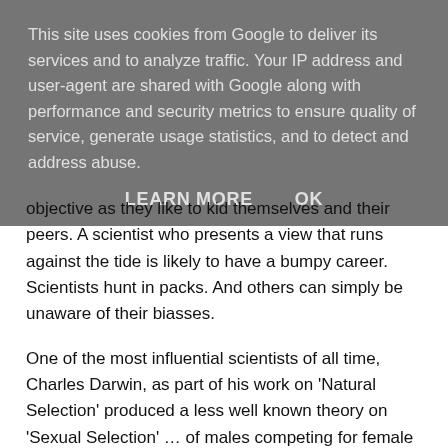This site uses cookies from Google to deliver its services and to analyze traffic. Your IP address and user-agent are shared with Google along with performance and security metrics to ensure quality of service, generate usage statistics, and to detect and address abuse.
LEARN MORE   OK
objective as they like to kid themselves and their peers. A scientist who presents a view that runs against the tide is likely to have a bumpy career. Scientists hunt in packs. And others can simply be unaware of their biasses.
One of the most influential scientists of all time, Charles Darwin, as part of his work on 'Natural Selection' produced a less well known theory on 'Sexual Selection' ... of males competing for female sexual partners.
Sexual selection depends on an assumption of heteronormativity in nature. In a circular fashion, it also leads to assumptions that homosexuality is unnatural.
Few have ever challenged the assumptions embodied here